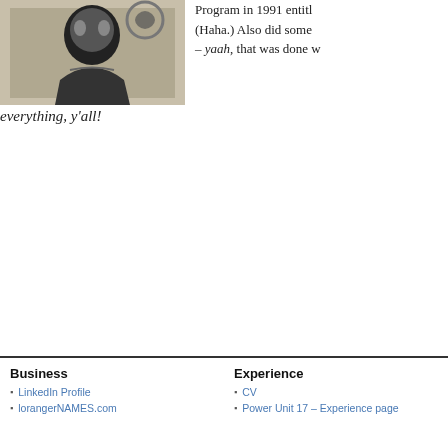[Figure (photo): Black and white photo of a person]
Program in 1991 entitl (Haha.) Also did some – yaah, that was done w
everything, y'all!
Business
LinkedIn Profile
lorangerNAMES.com
Experience
CV
Power Unit 17 – Experience page